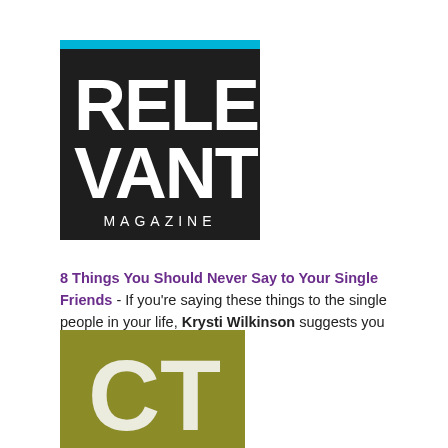[Figure (logo): RELEVANT MAGAZINE logo — dark charcoal/black square with cyan top bar, bold white text 'RELE VANT' in large condensed font, and 'MAGAZINE' in spaced capital letters below]
8 Things You Should Never Say to Your Single Friends - If you're saying these things to the single people in your life, Krysti Wilkinson suggests you stop.
[Figure (logo): CT logo — olive/dark yellow-green square with large bold white letters 'CT' centered]